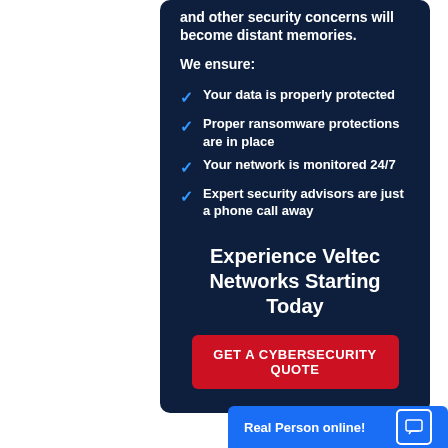and other security concerns will become distant memories.
We ensure:
Your data is properly protected
Proper ransomware protections are in place
Your network is monitored 24/7
Expert security advisors are just a phone call away
Experience Veltec Networks Starting Today
GET A CYBERSECURITY QUOTE
Real Person online!